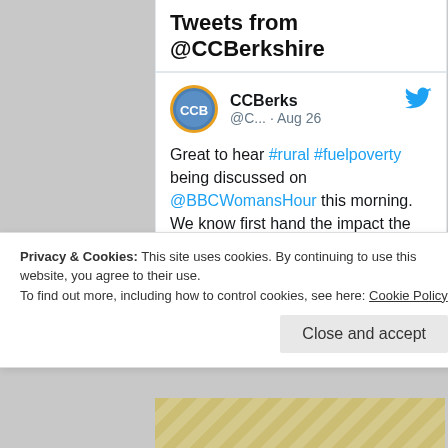Tweets from @CCBerkshire
CCBerks @C... · Aug 26
Great to hear #rural #fuelpoverty being discussed on @BBCWomansHour this morning. We know first hand the impact the #EnergyPrices rise are having on families throughout #Berkshire & rural communities, visit our website for top tips & help ccberks.org.uk
Privacy & Cookies: This site uses cookies. By continuing to use this website, you agree to their use.
To find out more, including how to control cookies, see here: Cookie Policy
Close and accept
[Figure (photo): Bottom portion of image, partially visible, appears to be a textured or food-related photograph]